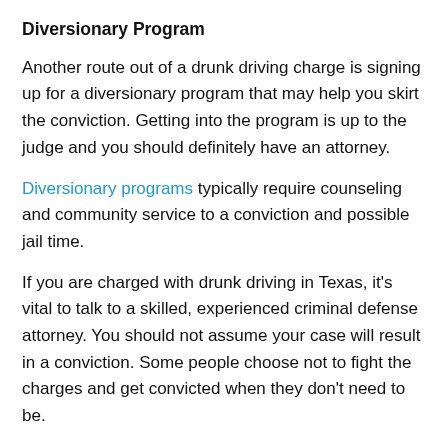Diversionary Program
Another route out of a drunk driving charge is signing up for a diversionary program that may help you skirt the conviction. Getting into the program is up to the judge and you should definitely have an attorney.
Diversionary programs typically require counseling and community service to a conviction and possible jail time.
If you are charged with drunk driving in Texas, it’s vital to talk to a skilled, experienced criminal defense attorney. You should not assume your case will result in a conviction. Some people choose not to fight the charges and get convicted when they don’t need to be.
Your attorney will review the case thoroughly with you and decide if one of the defenses above may help.